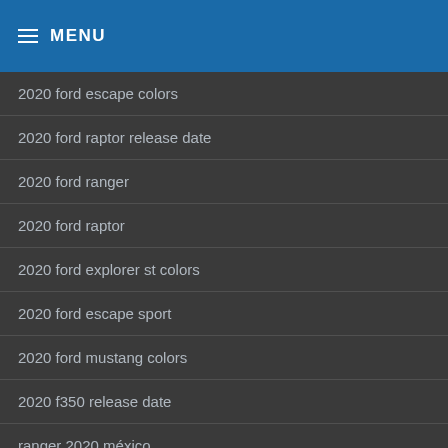≡ MENU
2020 ford escape colors
2020 ford raptor release date
2020 ford ranger
2020 ford raptor
2020 ford explorer st colors
2020 ford escape sport
2020 ford mustang colors
2020 f350 release date
ranger 2020 méxico
2020 ford ranger colors